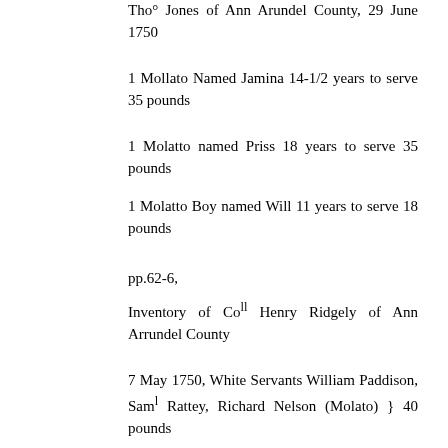Tho° Jones of Ann Arundel County, 29 June 1750
1 Mollato Named Jamina 14-1/2 years to serve 35 pounds
1 Molatto named Priss 18 years to serve 35 pounds
1 Molatto Boy named Will 11 years to serve 18 pounds
pp.62-6,
Inventory of Coll Henry Ridgely of Ann Arrundel County
7 May 1750, White Servants William Paddison, Saml Rattey, Richard Nelson (Molato) } 40 pounds